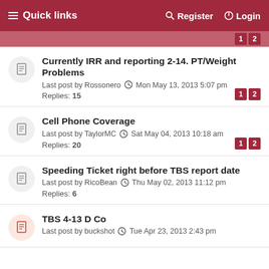Quick links   Register   Login
Currently IRR and reporting 2-14. PT/Weight Problems
Last post by Rossonero  Mon May 13, 2013 5:07 pm
Replies: 15
Cell Phone Coverage
Last post by TaylorMC  Sat May 04, 2013 10:18 am
Replies: 20
Speeding Ticket right before TBS report date
Last post by RicoBean  Thu May 02, 2013 11:12 pm
Replies: 6
TBS 4-13 D Co
Last post by buckshot  Tue Apr 23, 2013 2:43 pm